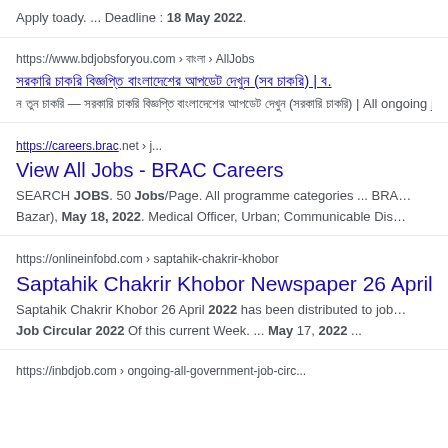Apply toady. ... Deadline : 18 May 2022.
https://www.bdjobsforyou.com › ??? › AllJobs
[Bengali text] (??? ???) | .
? ??? ??? — [Bengali text] (??????? ???) | All ongoing j…
https://careers.brac.net › j...
View All Jobs - BRAC Careers
SEARCH JOBS. 50 Jobs/Page. All programme categories ... BRA… Bazar), May 18, 2022. Medical Officer, Urban; Communicable Dis…
https://onlineinfobd.com › saptahik-chakrir-khobor
Saptahik Chakrir Khobor Newspaper 26 April 2…
Saptahik Chakrir Khobor 26 April 2022 has been distributed to job… Job Circular 2022 Of this current Week. ... May 17, 2022 ...
https://inbdjob.com › ongoing-all-government-job-circ...